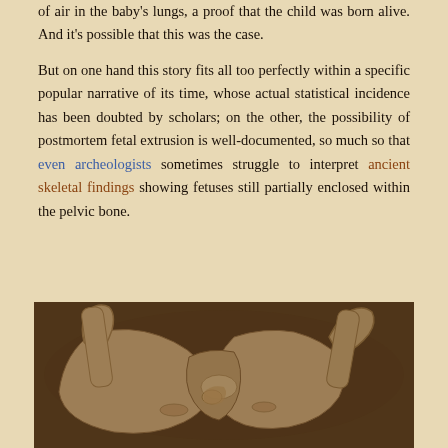of air in the baby's lungs, a proof that the child was born alive. And it's possible that this was the case.
But on one hand this story fits all too perfectly within a specific popular narrative of its time, whose actual statistical incidence has been doubted by scholars; on the other, the possibility of postmortem fetal extrusion is well-documented, so much so that even archeologists sometimes struggle to interpret ancient skeletal findings showing fetuses still partially enclosed within the pelvic bone.
[Figure (photo): Sepia-toned archaeological photograph showing ancient skeletal remains, including pelvic bones and femurs, with a small fetal skeleton visible within the pelvic region.]